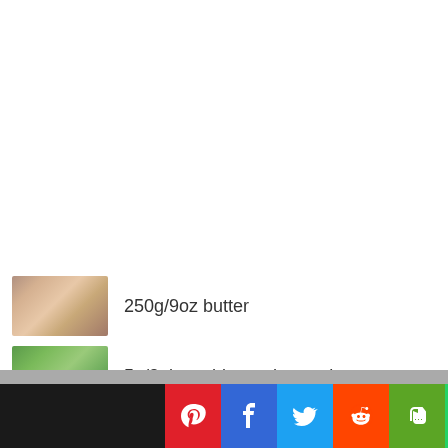250g/9oz butter
5g/2 tbsp chives, chopped
5g/2 tbsp fresh dill, chopped
[Figure (infographic): Social media sharing bar with Pinterest, Facebook, Twitter, Reddit, Evernote, WhatsApp, Email, SMS buttons]